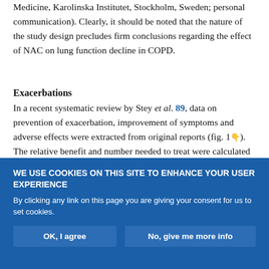Medicine, Karolinska Institutet, Stockholm, Sweden; personal communication). Clearly, it should be noted that the nature of the study design precludes firm conclusions regarding the effect of NAC on lung function decline in COPD.
Exacerbations
In a recent systematic review by Stey et al. 89, data on prevention of exacerbation, improvement of symptoms and adverse effects were extracted from original reports (fig. 1↓). The relative benefit and number needed to treat were calculated for both individual trials and the combined data. Of the 39 trials retrieved, 11 (2,011 patients enrolled) published 1970–1994 were...
WE USE COOKIES ON THIS SITE TO ENHANCE YOUR USER EXPERIENCE

By clicking any link on this page you are giving your consent for us to set cookies.